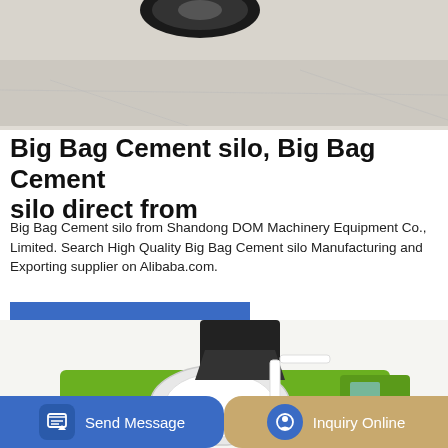[Figure (photo): Top portion of a vehicle or machinery, showing a wheel, on a pale concrete floor background]
Big Bag Cement silo, Big Bag Cement silo direct from
Big Bag Cement silo from Shandong DOM Machinery Equipment Co., Limited. Search High Quality Big Bag Cement silo Manufacturing and Exporting supplier on Alibaba.com.
GET A QUOTE
[Figure (photo): Green and white self-loading concrete mixer machine with black hopper on top, photographed on white background]
Send Message
Inquiry Online